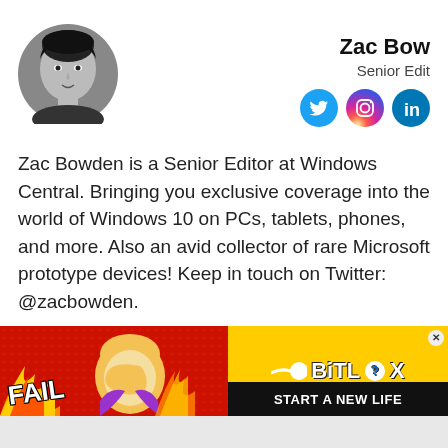[Figure (photo): Circular black and white headshot photo of Zac Bowden]
Zac Bowden
Senior Editor
[Figure (infographic): Social media icons: Twitter (blue bird), Instagram (pink camera), LinkedIn (blue in)]
Zac Bowden is a Senior Editor at Windows Central. Bringing you exclusive coverage into the world of Windows 10 on PCs, tablets, phones, and more. Also an avid collector of rare Microsoft prototype devices! Keep in touch on Twitter: @zacbowden.
[Figure (infographic): BitLife advertisement banner with red background, fire animations, a cartoon character facepalming, FAIL text, BitLife logo, and START A NEW LIFE text on black band]